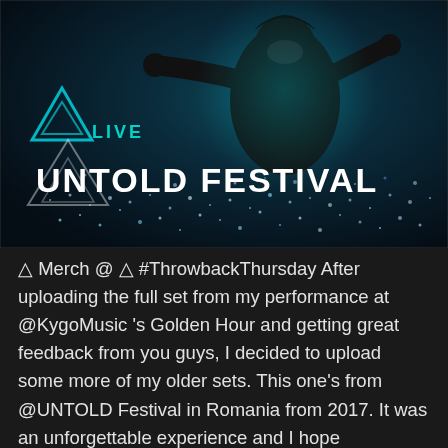[Figure (photo): Concert/festival promotional image showing a masked performer in black with arms outstretched against a dark blue backdrop with sparkling lights. Text overlay reads 'LIVE' in teal and 'UNTOLD FESTIVAL' in large white bold letters. A triangle logo is visible on the left side.]
△ Merch @ △ #ThrowbackThursday After uploading the full set from my performance at @KygoMusic 's Golden Hour and getting great feedback from you guys, I decided to upload some more of my older sets. This one's from @UNTOLD Festival in Romania from 2017. It was an unforgettable experience and I hope